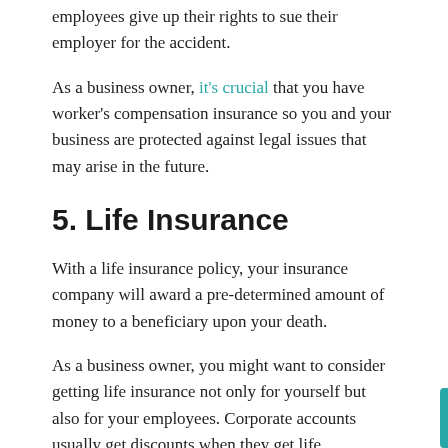employees give up their rights to sue their employer for the accident.
As a business owner, it's crucial that you have worker's compensation insurance so you and your business are protected against legal issues that may arise in the future.
5. Life Insurance
With a life insurance policy, your insurance company will award a pre-determined amount of money to a beneficiary upon your death.
As a business owner, you might want to consider getting life insurance not only for yourself but also for your employees. Corporate accounts usually get discounts when they get life insurances for the whole company.